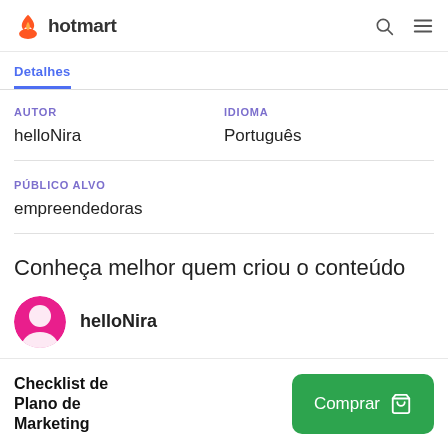hotmart
Detalhes
AUTOR
helloNira
IDIOMA
Português
PÚBLICO ALVO
empreendedoras
Conheça melhor quem criou o conteúdo
helloNira
Checklist de Plano de Marketing
Comprar